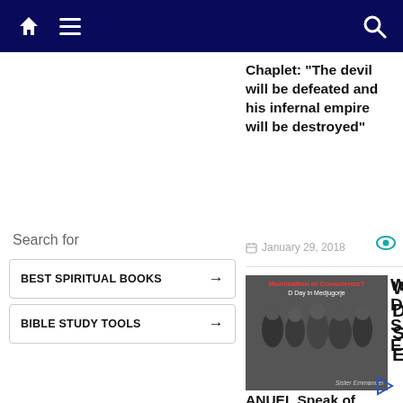Navigation bar with home, menu, and search icons
Chaplet: “The devil will be defeated and his infernal empire will be destroyed”
January 29, 2018
[Figure (photo): Black and white group photo with text overlay: Illumination of Conscience? D Day in Medjugorje, Sister Emmanuel]
Why Did Sr. EMM ANUEL Speak of Medjugorje’s Approaching “D-Day”?
April 21, 2021
Search for
BEST SPIRITUAL BOOKS →
BIBLE STUDY TOOLS →